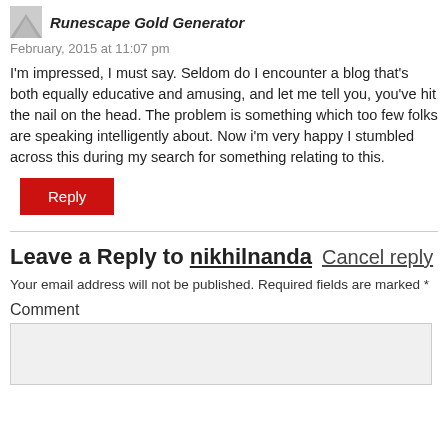Runescape Gold Generator
February, 2015 at 11:07 pm
I'm impressed, I must say. Seldom do I encounter a blog that's both equally educative and amusing, and let me tell you, you've hit the nail on the head. The problem is something which too few folks are speaking intelligently about. Now i'm very happy I stumbled across this during my search for something relating to this.
Reply
Leave a Reply to nikhilnanda Cancel reply
Your email address will not be published. Required fields are marked *
Comment